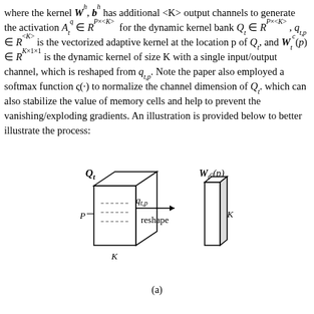where the kernel W^h, b^h has additional <K> output channels to generate the activation A_t^q ∈ R^{P×<K>} for the dynamic kernel bank Q_t ∈ R^{P×<K>}, q_{t,p} ∈ R^{<K>} is the vectorized adaptive kernel at the location p of Q_t, and W_t^c(p) ∈ R^{K×1×1} is the dynamic kernel of size K with a single input/output channel, which is reshaped from q_{t,p}. Note the paper also employed a softmax function ς(·) to normalize the channel dimension of Q_t. which can also stabilize the value of memory cells and help to prevent the vanishing/exploding gradients. An illustration is provided below to better illustrate the process:
[Figure (schematic): Diagram showing Q_t tensor with q_{t,p} vector being extracted and reshaped via an arrow labeled 'reshape' into W_t^c(p) column vector of height K. P and K dimensions labeled on the tensor. (a) caption below.]
(a)